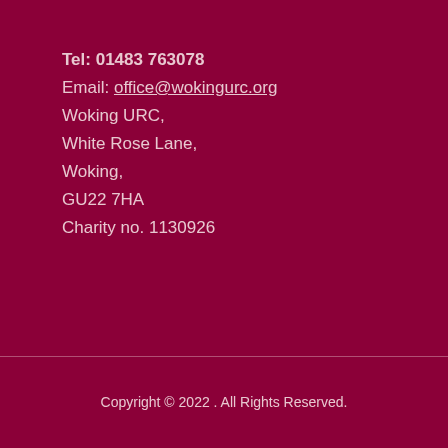Tel: 01483 763078
Email: office@wokingurc.org
Woking URC,
White Rose Lane,
Woking,
GU22 7HA
Charity no. 1130926
Copyright © 2022 . All Rights Reserved.